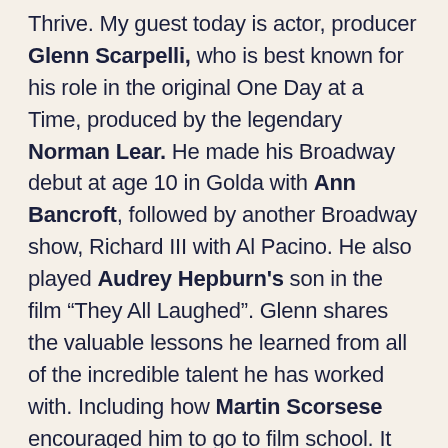Thrive. My guest today is actor, producer Glenn Scarpelli, who is best known for his role in the original One Day at a Time, produced by the legendary Norman Lear. He made his Broadway debut at age 10 in Golda with Ann Bancroft, followed by another Broadway show, Richard III with Al Pacino. He also played Audrey Hepburn's son in the film “They All Laughed”. Glenn shares the valuable lessons he learned from all of the incredible talent he has worked with. Including how Martin Scorsese encouraged him to go to film school. It was at a time that he felt disillusioned with acting. The truth was that Glenn felt disillusioned with the fact that he